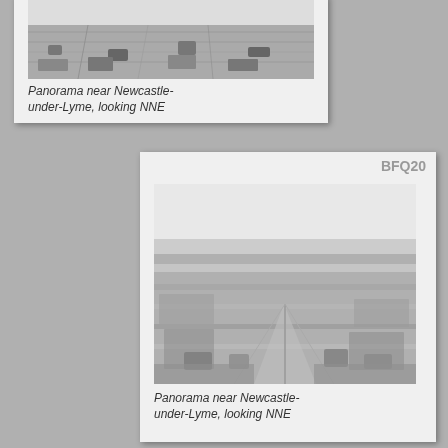[Figure (photo): Black and white aerial panorama photograph near Newcastle-under-Lyme, looking NNE (top card, partially cut off at top)]
Panorama near Newcastle-under-Lyme, looking NNE
[Figure (photo): Black and white aerial panorama photograph near Newcastle-under-Lyme, looking NNE, labeled BFQ20]
Panorama near Newcastle-under-Lyme, looking NNE
[Figure (photo): Black and white aerial photograph labeled CEN60, showing buildings and trees from above (partially cut off at bottom)]